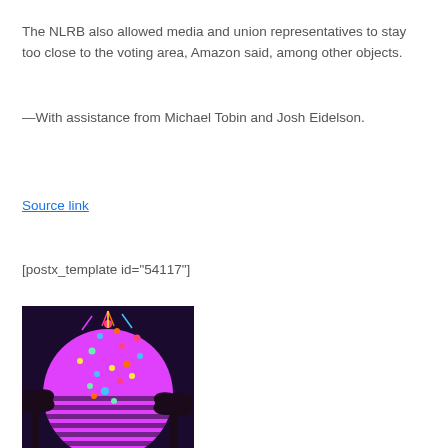The NLRB also allowed media and union representatives to stay too close to the voting area, Amazon said, among other objects.
—With assistance from Michael Tobin and Josh Eidelson.
Source link
[postx_template id="54117"]
[Figure (photo): Retro-style illustration featuring a large pink/magenta striped circle (sunset) with silhouetted palm trees and colorful confetti falling in the foreground, on a dark background.]